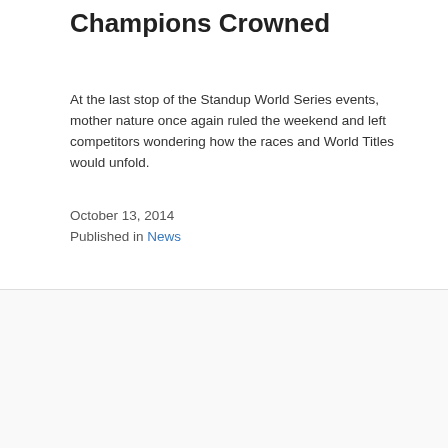Champions Crowned
At the last stop of the Standup World Series events,  mother nature once again ruled the weekend and left competitors wondering how the races and World Titles would unfold.
October 13, 2014
Published in News
[Figure (photo): Two side-by-side photos of champions wearing flower crowns (lei headpieces) celebrating outdoors with a crowd in the background, blue sky visible.]